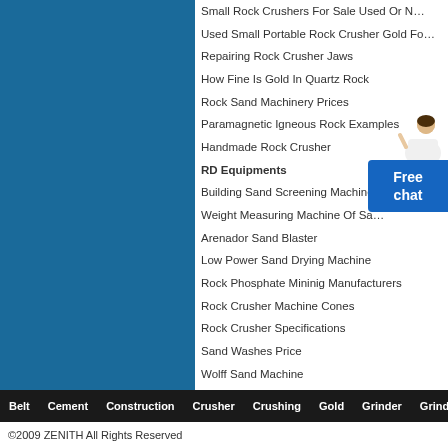Small Rock Crushers For Sale Used Or N…
Used Small Portable Rock Crusher Gold Fo…
Repairing Rock Crusher Jaws
How Fine Is Gold In Quartz Rock
Rock Sand Machinery Prices
Paramagnetic Igneous Rock Examples
Handmade Rock Crusher
RD Equipments
Building Sand Screening Machine…
Weight Measuring Machine Of Sa…
Arenador Sand Blaster
Low Power Sand Drying Machine
Rock Phosphate Mininig Manufacturers
Rock Crusher Machine Cones
Rock Crusher Specifications
Sand Washes Price
Wolff Sand Machine
Tools Needed To Crush Rock
Belt  Cement  Construction  Crusher  Crushing  Gold  Grinder  Grinding
©2009 ZENITH All Rights Reserved